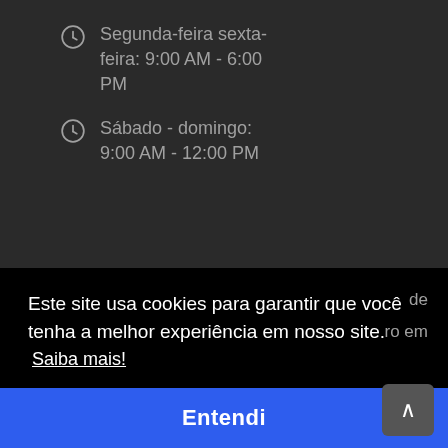Segunda-feira sexta-feira: 9:00 AM - 6:00 PM
Sábado - domingo: 9:00 AM - 12:00 PM
Este site usa cookies para garantir que você tenha a melhor experiência em nosso site.
Saiba mais!
de
ro em
Entendi